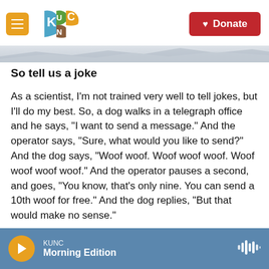KUNC - Donate
So tell us a joke
As a scientist, I'm not trained very well to tell jokes, but I'll do my best. So, a dog walks in a telegraph office and he says, "I want to send a message." And the operator says, "Sure, what would you like to send?" And the dog says, "Woof woof. Woof woof woof. Woof woof woof woof." And the operator pauses a second, and goes, "You know, that's only nine. You can send a 10th woof for free." And the dog replies, "But that would make no sense."
People never laugh when I tell that joke.
KUNC Morning Edition